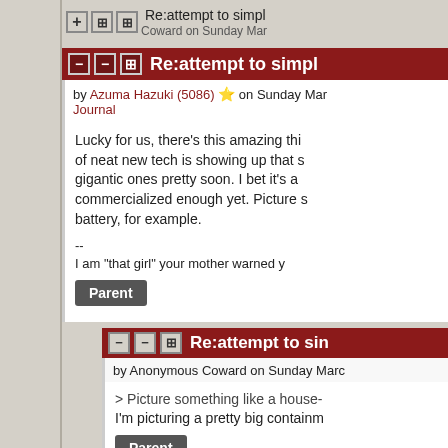Re:attempt to simpl — Anonymous Coward on Sunday Mar
Re:attempt to simpl
by Azuma Hazuki (5086) ⭐ on Sunday Mar ... Journal
Lucky for us, there's this amazing thi... of neat new tech is showing up that s... gigantic ones pretty soon. I bet it's a... commercialized enough yet. Picture s... battery, for example.

--
I am "that girl" your mother warned y
Parent
Re:attempt to sin
by Anonymous Coward on Sunday Marc
> Picture something like a house-...
I'm picturing a pretty big containm
Parent